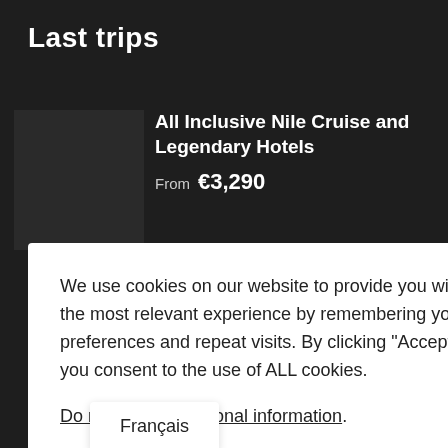Last trips
All Inclusive Nile Cruise and Legendary Hotels
From  €3,290
We use cookies on our website to provide you with the most relevant experience by remembering your preferences and repeat visits. By clicking "Accept", you consent to the use of ALL cookies.

Do not sell my personal information.

Cookie settings   Accepter
Français
ndtion Egypt